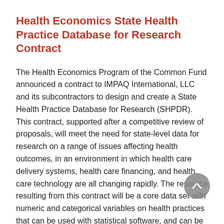Health Economics State Health Practice Database for Research Contract
The Health Economics Program of the Common Fund announced a contract to IMPAQ International, LLC and its subcontractors to design and create a State Health Practice Database for Research (SHPDR). This contract, supported after a competitive review of proposals, will meet the need for state-level data for research on a range of issues affecting health outcomes, in an environment in which health care delivery systems, health care financing, and health care technology are all changing rapidly. The resource resulting from this contract will be a core data set with numeric and categorical variables on health practices that can be used with statistical software, and can be linked with existing health and economic data for hypothesis-driven research. The need for this resource was discussed by